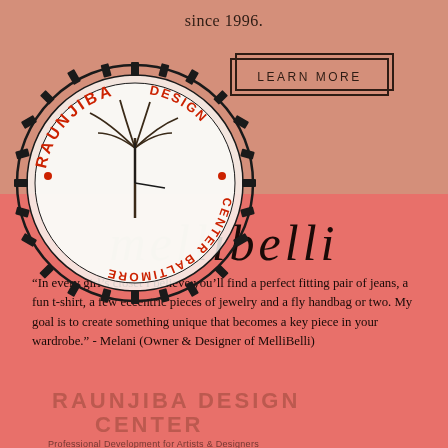since 1996.
LEARN MORE
[Figure (logo): Raunjiba Design Center circular stamp/seal logo with gear border, palm tree illustration, and text reading RAUNJIBA DESIGN CENTER BALTIMORE]
mellibelli
“In every girl’s closet I believe you’ll find a perfect fitting pair of jeans, a fun t-shirt, a few eccentric pieces of jewelry and a fly handbag or two. My goal is to create something unique that becomes a key piece in your wardrobe.” - Melani (Owner & Designer of MelliBelli)
RAUNJIBA DESIGN CENTER
Professional Development for Artists & Designers
The d[esigner of Melli]belli has been a fashion appa[rel and access]ories designer since 2001.[She, Me]lani learned her way arou[nd a sewing m]achine from her Gran[dmother. Due] to her nostalgic nature, she h[as kept her g]randmother’s sewi[ng machine wh]ich she occasionally uses